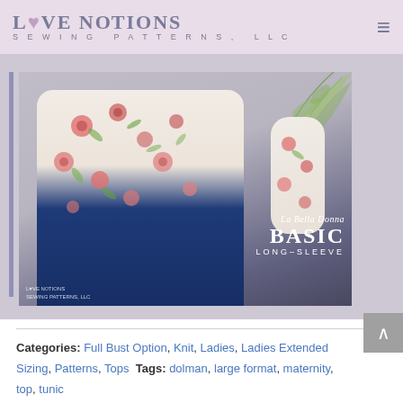Love Notions Sewing Patterns, LLC
[Figure (photo): Woman wearing a floral long-sleeve top (La Bella Donna Basic Long-Sleeve) with jeans, standing in front of a wall with leaf decoration. Text overlay reads: La Bella Donna BASIC LONG-SLEEVE. Love Notions Sewing Patterns LLC watermark in bottom left.]
Categories: Full Bust Option, Knit, Ladies, Ladies Extended Sizing, Patterns, Tops Tags: dolman, large format, maternity, top, tunic